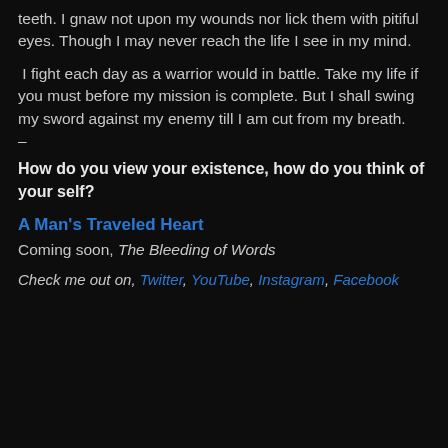teeth. I gnaw not upon my wounds nor lick them with pitiful eyes. Though I may never reach the life I see in my mind.
I fight each day as a warrior would in battle. Take my life if you must before my mission is complete. But I shall swing my sword against my enemy till I am cut from my breath.
–
How do you view your existence, how do you think of your self?
A Man's Traveled Heart
Coming soon, The Bleeding of Words
Check me out on, Twitter, YouTube, Instagram, Facebook